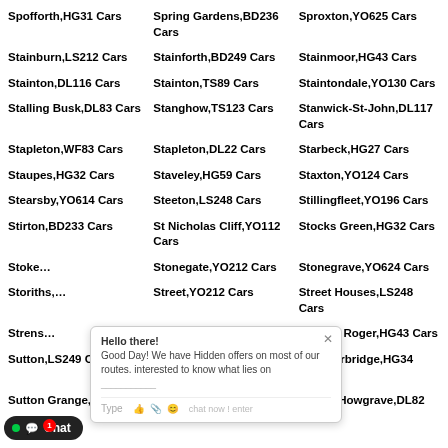Spofforth,HG31 Cars
Spring Gardens,BD236 Cars
Sproxton,YO625 Cars
Stainburn,LS212 Cars
Stainforth,BD249 Cars
Stainmoor,HG43 Cars
Stainton,DL116 Cars
Stainton,TS89 Cars
Staintondale,YO130 Cars
Stalling Busk,DL83 Cars
Stanghow,TS123 Cars
Stanwick-St-John,DL117 Cars
Stapleton,WF83 Cars
Stapleton,DL22 Cars
Starbeck,HG27 Cars
Staupes,HG32 Cars
Staveley,HG59 Cars
Staxton,YO124 Cars
Stearsby,YO614 Cars
Steeton,LS248 Cars
Stillingfleet,YO196 Cars
Stirton,BD233 Cars
St Nicholas Cliff,YO112 Cars
Stocks Green,HG32 Cars
Stoke,…
Stonegate,YO212 Cars
Stonegrave,YO624 Cars
Storiths,…
Street,YO212 Cars
Street Houses,LS248 Cars
Strensall,…
Studfold,BD240 Cars
Studley Roger,HG43 Cars
Sutton,LS249 Cars
Suffield,YO130 Cars
Summerbridge,HG34 Cars
Sutton Grange,HG43
Sutton Howgrave,DL82